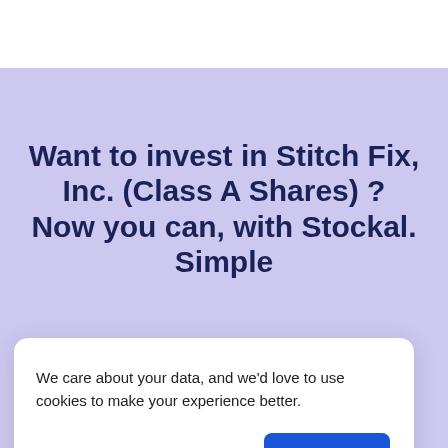Want to invest in Stitch Fix, Inc. (Class A Shares) ? Now you can, with Stockal. Simple
We care about your data, and we'd love to use cookies to make your experience better.
Privacy Policy
Accept